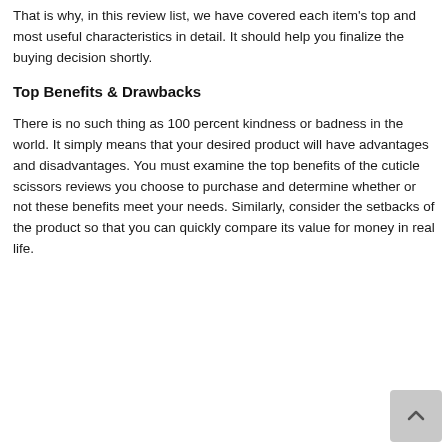That is why, in this review list, we have covered each item's top and most useful characteristics in detail. It should help you finalize the buying decision shortly.
Top Benefits & Drawbacks
There is no such thing as 100 percent kindness or badness in the world. It simply means that your desired product will have advantages and disadvantages. You must examine the top benefits of the cuticle scissors reviews you choose to purchase and determine whether or not these benefits meet your needs. Similarly, consider the setbacks of the product so that you can quickly compare its value for money in real life.